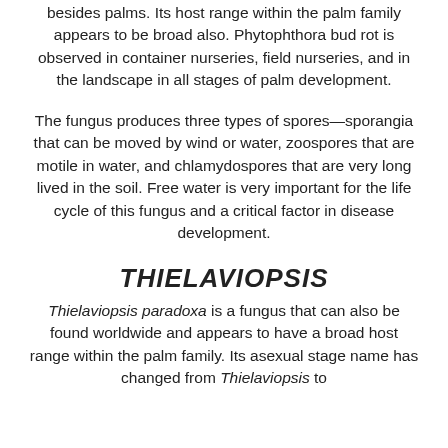besides palms. Its host range within the palm family appears to be broad also. Phytophthora bud rot is observed in container nurseries, field nurseries, and in the landscape in all stages of palm development.
The fungus produces three types of spores—sporangia that can be moved by wind or water, zoospores that are motile in water, and chlamydospores that are very long lived in the soil. Free water is very important for the life cycle of this fungus and a critical factor in disease development.
THIELAVIOPSIS
Thielaviopsis paradoxa is a fungus that can also be found worldwide and appears to have a broad host range within the palm family. Its asexual stage name has changed from Thielaviopsis to